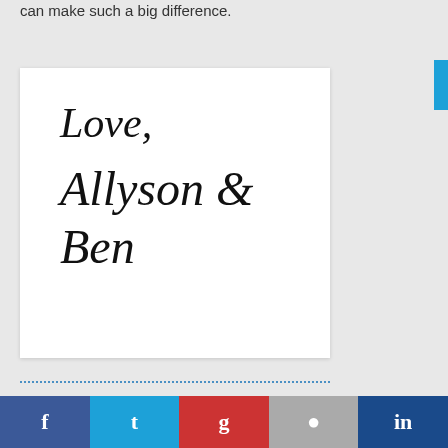can make such a big difference.
[Figure (illustration): White card/stationery showing cursive script text 'Love,' on first line and 'Allyson & Ben' on second line, in elegant black cursive font on white background]
Social sharing bar with Facebook, Twitter, Google+, Pinterest, LinkedIn icons